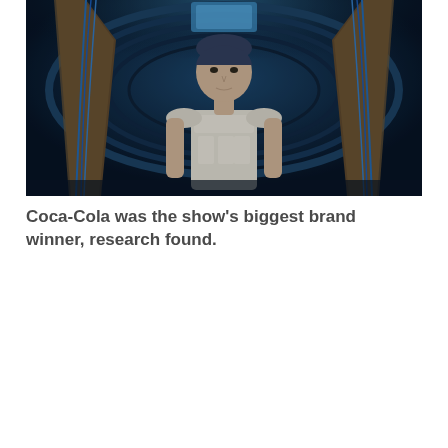[Figure (photo): A person standing in a futuristic tunnel corridor with blue lighting and wooden arch framing, wearing a light-colored sleeveless armored top. The setting appears to be from a sci-fi TV show.]
Coca-Cola was the show's biggest brand winner, research found.